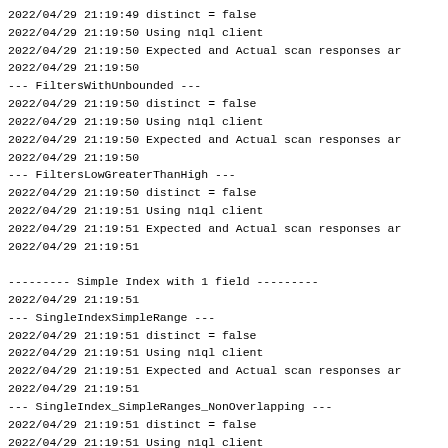2022/04/29 21:19:49 distinct = false
2022/04/29 21:19:50 Using n1ql client
2022/04/29 21:19:50 Expected and Actual scan responses ar
2022/04/29 21:19:50
--- FiltersWithUnbounded ---
2022/04/29 21:19:50 distinct = false
2022/04/29 21:19:50 Using n1ql client
2022/04/29 21:19:50 Expected and Actual scan responses ar
2022/04/29 21:19:50
--- FiltersLowGreaterThanHigh ---
2022/04/29 21:19:50 distinct = false
2022/04/29 21:19:51 Using n1ql client
2022/04/29 21:19:51 Expected and Actual scan responses ar
2022/04/29 21:19:51

--------- Simple Index with 1 field ---------
2022/04/29 21:19:51
--- SingleIndexSimpleRange ---
2022/04/29 21:19:51 distinct = false
2022/04/29 21:19:51 Using n1ql client
2022/04/29 21:19:51 Expected and Actual scan responses ar
2022/04/29 21:19:51
--- SingleIndex_SimpleRanges_NonOverlapping ---
2022/04/29 21:19:51 distinct = false
2022/04/29 21:19:51 Using n1ql client
2022/04/29 21:19:51 Expected and Actual scan responses ar
2022/04/29 21:19:51
--- SingleIndex_SimpleRanges_Overlapping ---
2022/04/29 21:19:51 distinct = false
2022/04/29 21:19:52 Using n1ql client